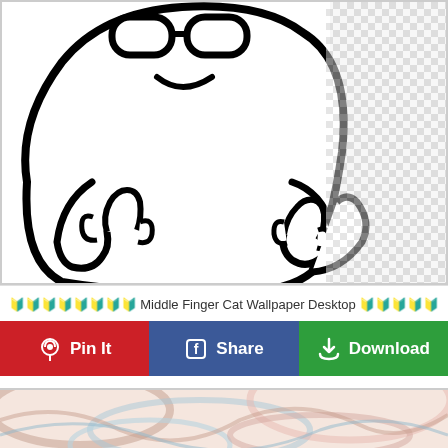[Figure (illustration): Line drawing illustration of a cartoon cat character giving middle fingers with both hands, white background on left, transparent checkerboard on upper right]
🔰🔰🔰🔰🔰🔰🔰🔰 Middle Finger Cat Wallpaper Desktop 🔰🔰🔰🔰🔰
[Figure (other): Three social sharing buttons: Pin It (red with Pinterest icon), Share (blue with Facebook icon), Download (green with download icon)]
[Figure (photo): Partial view of a colorful pastel marble swirl pattern image in pink, blue, and cream tones]